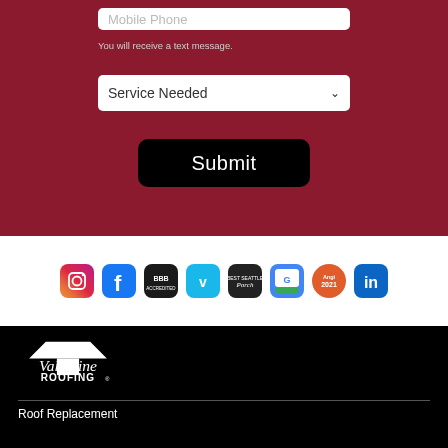Mobile Phone
You will receive a text message.
Service Needed
Submit
[Figure (logo): Row of social media and business icons: Instagram, Facebook, BBB, Vimeo, Porch/Chalk, Google Business, Angi 2021, LinkedIn]
[Figure (logo): Valentine Roofing logo - white text and roof icon on black background]
Roof Replacement